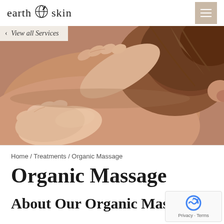earth skin
< View all Services
[Figure (photo): Close-up photo of a massage therapist's hands performing a back massage on a client lying face down, with warm skin tones and soft lighting.]
Home / Treatments / Organic Massage
Organic Massage
About Our Organic Massage